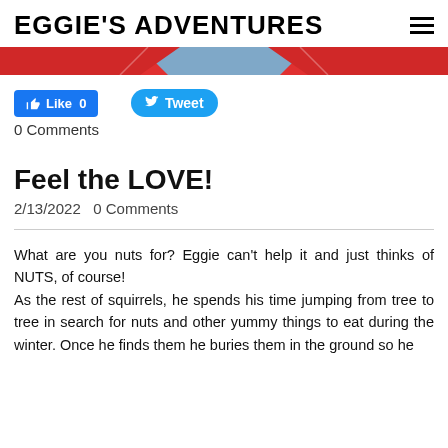EGGIE'S ADVENTURES
[Figure (illustration): Decorative banner with red and blue/grey diagonal stripes]
[Figure (other): Facebook Like button showing count 0]
[Figure (other): Twitter Tweet button]
0 Comments
Feel the LOVE!
2/13/2022   0 Comments
What are you nuts for? Eggie can't help it and just thinks of NUTS, of course!
As the rest of squirrels, he spends his time jumping from tree to tree in search for nuts and other yummy things to eat during the winter. Once he finds them he buries them in the ground so he